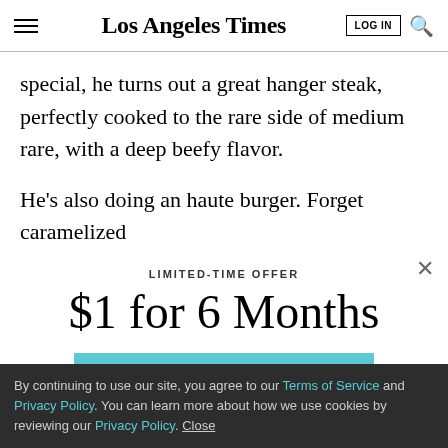Los Angeles Times — LOG IN [search]
special, he turns out a great hanger steak, perfectly cooked to the rare side of medium rare, with a deep beefy flavor.
He's also doing an haute burger. Forget caramelized
LIMITED-TIME OFFER
$1 for 6 Months
SUBSCRIBE NOW
By continuing to use our site, you agree to our Terms of Service and Privacy Policy. You can learn more about how we use cookies by reviewing our Privacy Policy. Close